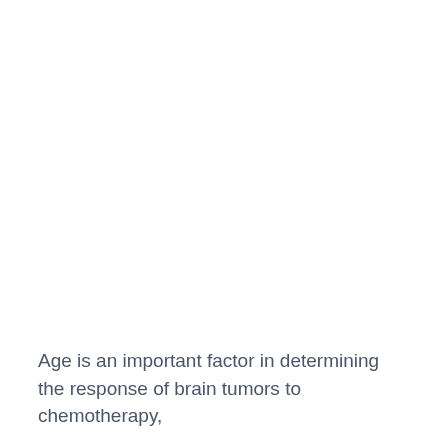Age is an important factor in determining the response of brain tumors to chemotherapy,